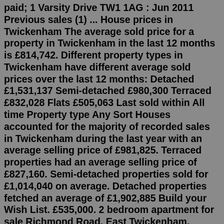paid; 1 Varsity Drive TW1 1AG : Jun 2011 Previous sales (1) ... House prices in Twickenham The average sold price for a property in Twickenham in the last 12 months is £814,742. Different property types in Twickenham have different average sold prices over the last 12 months: Detached £1,531,137 Semi-detached £980,300 Terraced £832,028 Flats £505,063 Last sold within All time Property type Any Sort Houses accounted for the majority of recorded sales in Twickenham during the last year with an average selling price of £981,825. Terraced properties had an average selling price of £827,160. Semi-detached properties sold for £1,014,040 on average. Detached properties fetched an average of £1,902,885 Build your Wish List. £535,000. 2 bedroom apartment for sale Richmond Road, East Twickenham. Accompanied by Chase Buchanan. Two double bedrooms. 2. 1. OnTheMarket < 7 days Marketed by Chase Buchanan - St Margarets. 020 8033 5519. Will Twickenham house prices drop in 2022? We cannot tell the future and don't believe anyone who says they